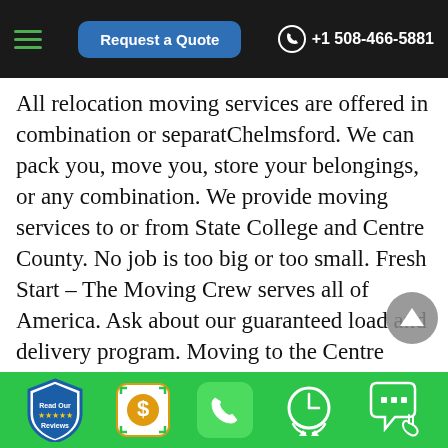Request a Quote | +1 508-466-5881
All relocation moving services are offered in combination or separatChelmsford. We can pack you, move you, store your belongings, or any combination. We provide moving services to or from State College and Centre County. No job is too big or too small. Fresh Start – The Moving Crew serves all of America. Ask about our guaranteed load and delivery program. Moving to the Centre region? Fresh Start – The Moving Crew can take the hassle out of moving. We will be glad to coordinate your move from start to finish. Chances are, we have an
Read Our Reviews | $ | Phone | Clock | Chat